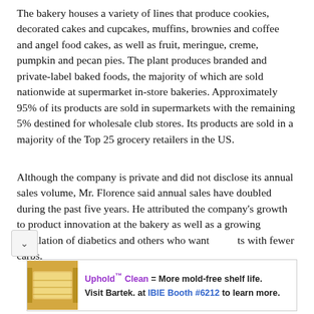The bakery houses a variety of lines that produce cookies, decorated cakes and cupcakes, muffins, brownies and coffee and angel food cakes, as well as fruit, meringue, creme, pumpkin and pecan pies. The plant produces branded and private-label baked foods, the majority of which are sold nationwide at supermarket in-store bakeries. Approximately 95% of its products are sold in supermarkets with the remaining 5% destined for wholesale club stores. Its products are sold in a majority of the Top 25 grocery retailers in the US.
Although the company is private and did not disclose its annual sales volume, Mr. Florence said annual sales have doubled during the past five years. He attributed the company's growth to product innovation at the bakery as well as a growing population of diabetics and others who want products with fewer carbs.
[Figure (infographic): Advertisement banner for Uphold Clean product by Bartek. Shows sliced bread image on the left, text reading 'Uphold Clean = More mold-free shelf life. Visit Bartek. at IBIE Booth #6212 to learn more.' with 'Uphold Clean' in purple and 'IBIE Booth #6212' in blue.]